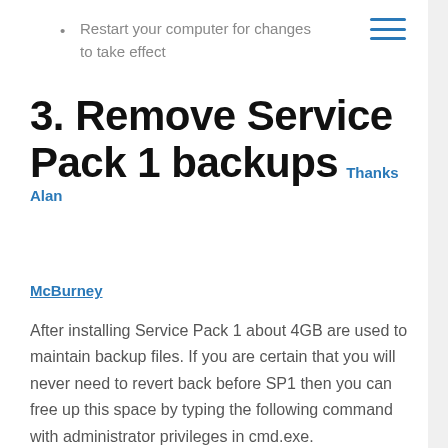Restart your computer for changes to take effect
3. Remove Service Pack 1 backups Thanks Alan
McBurney
After installing Service Pack 1 about 4GB are used to maintain backup files. If you are certain that you will never need to revert back before SP1 then you can free up this space by typing the following command with administrator privileges in cmd.exe.